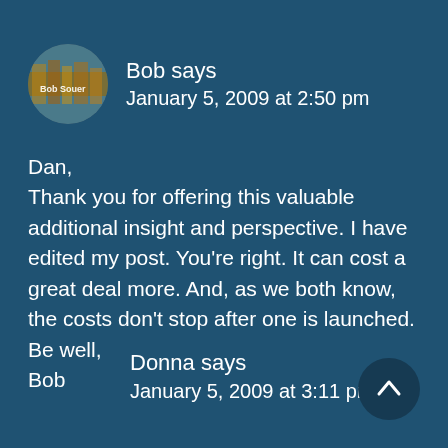Bob says
January 5, 2009 at 2:50 pm
Dan,
Thank you for offering this valuable additional insight and perspective. I have edited my post. You're right. It can cost a great deal more. And, as we both know, the costs don't stop after one is launched.
Be well,
Bob
Donna says
January 5, 2009 at 3:11 pm